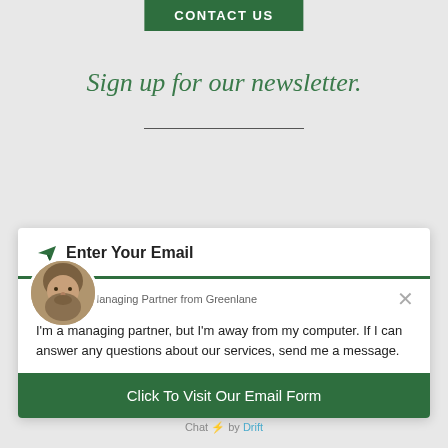CONTACT US
Sign up for our newsletter.
Enter Your Email
Bill Sebald, Managing Partner from Greenlane
I'm a managing partner, but I'm away from my computer. If I can answer any questions about our services, send me a message.
Click To Visit Our Email Form
Chat ⚡ by Drift